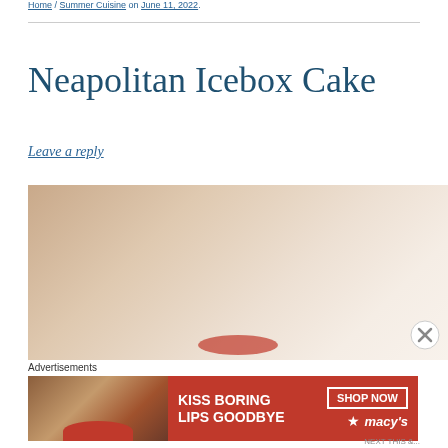Home / Summer Cuisine on June 11, 2022.
Neapolitan Icebox Cake
Leave a reply
[Figure (photo): Photograph of a Neapolitan Icebox Cake, beige/tan tones with red strawberry elements visible at bottom]
Advertisements
[Figure (photo): Macy's advertisement: KISS BORING LIPS GOODBYE with SHOP NOW button and Macy's star logo, featuring woman with red lips]